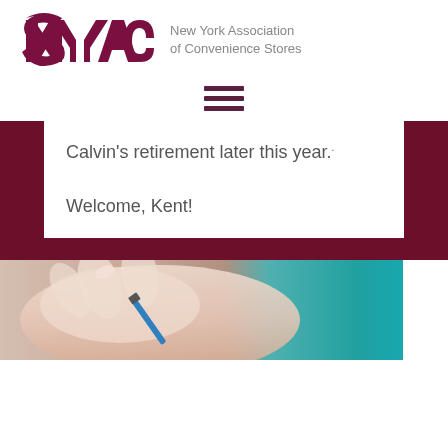[Figure (logo): NYACS logo with italic maroon lettering and text 'New York Association of Convenience Stores']
[Figure (other): Hamburger menu icon (three horizontal lines)]
Calvin's retirement later this year. Welcome, Kent!
[Figure (photo): Close-up photo of a hand holding a pen, writing on paper, with teal/turquoise background elements]